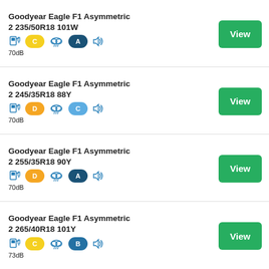Goodyear Eagle F1 Asymmetric 2 235/50R18 101W, Fuel: C, Wet: A, 70dB
Goodyear Eagle F1 Asymmetric 2 245/35R18 88Y, Fuel: D, Wet: C, 70dB
Goodyear Eagle F1 Asymmetric 2 255/35R18 90Y, Fuel: D, Wet: A, 70dB
Goodyear Eagle F1 Asymmetric 2 265/40R18 101Y, Fuel: C, Wet: B, 73dB